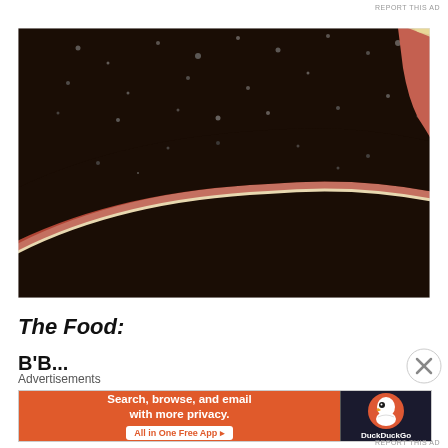REPORT THIS AD
[Figure (photo): Sliced smoked BBQ brisket with dark bark crust showing pink smoke ring, on a wooden cutting board. Multiple slices fanned out showing the interior.]
The Food:
B'B...
Advertisements
[Figure (infographic): DuckDuckGo advertisement banner. Left side: orange background with text 'Search, browse, and email with more privacy. All in One Free App'. Right side: dark background with DuckDuckGo duck logo and 'DuckDuckGo' text.]
REPORT THIS AD